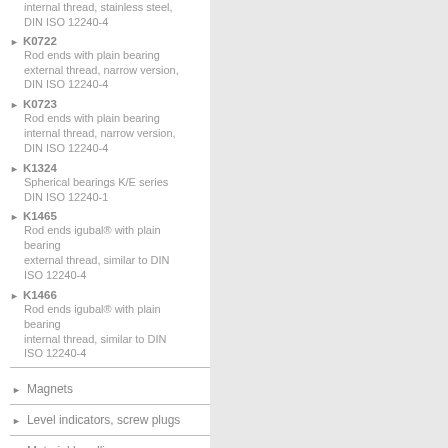internal thread, stainless steel, DIN ISO 12240-4
K0722 Rod ends with plain bearing external thread, narrow version, DIN ISO 12240-4
K0723 Rod ends with plain bearing internal thread, narrow version, DIN ISO 12240-4
K1324 Spherical bearings K/E series DIN ISO 12240-1
K1465 Rod ends igubal® with plain bearing external thread, similar to DIN ISO 12240-4
K1466 Rod ends igubal® with plain bearing internal thread, similar to DIN ISO 12240-4
Magnets
Level indicators, screw plugs
Material handling
Tools
Product lines KIPP Inc.